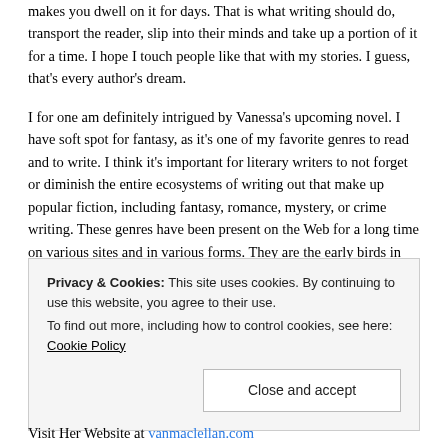makes you dwell on it for days. That is what writing should do, transport the reader, slip into their minds and take up a portion of it for a time. I hope I touch people like that with my stories. I guess, that's every author's dream.
I for one am definitely intrigued by Vanessa's upcoming novel. I have soft spot for fantasy, as it's one of my favorite genres to read and to write. I think it's important for literary writers to not forget or diminish the entire ecosystems of writing out that make up popular fiction, including fantasy, romance, mystery, or crime writing. These genres have been present on the Web for a long time on various sites and in various forms. They are the early birds in the movement towards online publishing and online literature, and only now are literary
Privacy & Cookies: This site uses cookies. By continuing to use this website, you agree to their use.
To find out more, including how to control cookies, see here: Cookie Policy
Close and accept
Visit Her Website at vanmaclellan.com